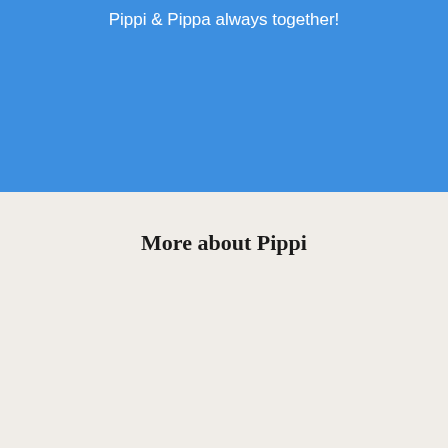Pippi & Pippa always together!
More about Pippi
[Figure (photo): Two donkeys — a large adult donkey and a small foal — standing together outdoors with green trees and a structure in the background.]